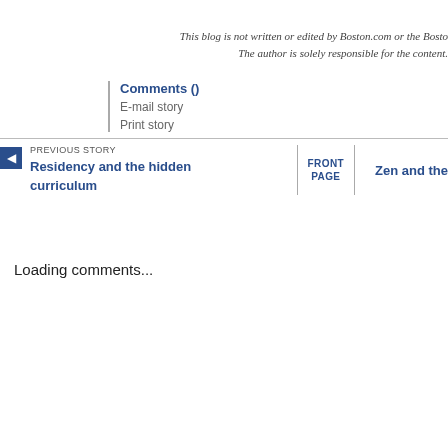This blog is not written or edited by Boston.com or the Bosto
The author is solely responsible for the content.
Comments ()
E-mail story
Print story
PREVIOUS STORY
Residency and the hidden curriculum
FRONT PAGE
Zen and the
Loading comments...